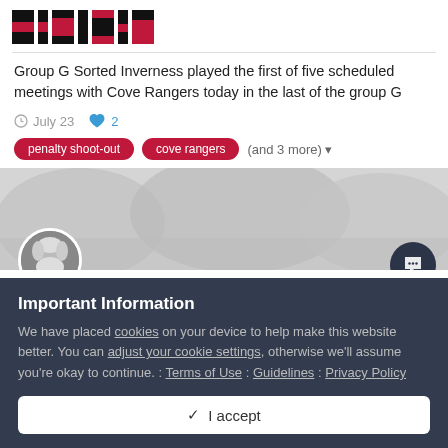[Figure (logo): Website logo banner with red and black pixel/block pattern on white background]
Group G Sorted Inverness played the first of five scheduled meetings with Cove Rangers today in the last of the group G
July 23   2
penalty shoot-out
cove rangers
(and 3 more)
[Figure (photo): User avatar photo of a person with white beard/hair, circular crop, against a banner background photo]
Important Information
We have placed cookies on your device to help make this website better. You can adjust your cookie settings, otherwise we'll assume you're okay to continue. : Terms of Use : Guidelines : Privacy Policy
✓ I accept